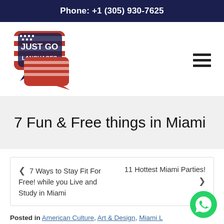Phone: +1 (305) 930-7625
[Figure (logo): Just Go Languages logo — speech bubble shape with American flag colors, white text reading JUST GO LANGUAGES]
7 Fun & Free things in Miami
< 7 Ways to Stay Fit For Free! while you Live and Study in Miami
11 Hottest Miami Parties! >
Posted in American Culture, Art & Design, Miami L…